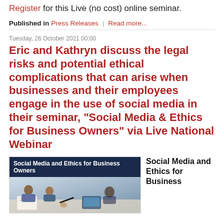Register for this Live (no cost) online seminar.
Published in Press Releases | Read more...
Tuesday, 26 October 2021 00:00
Eric and Kathryn discuss the legal risks and potential ethical complications that can arise when businesses and their employees engage in the use of social media in their seminar, "Social Media & Ethics for Business Owners" via Live National Webinar
[Figure (photo): Promotional image for 'Social Media and Ethics for Business Owners' webinar with dark blue banner text over a photo of people working at a table.]
Social Media and Ethics for Business